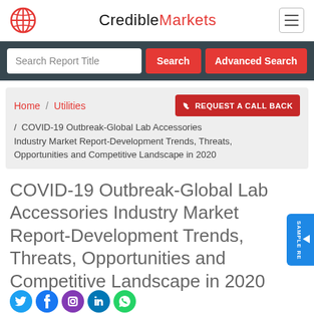CredibleMarkets
Search Report Title | Search | Advanced Search
Home / Utilities / COVID-19 Outbreak-Global Lab Accessories Industry Market Report-Development Trends, Threats, Opportunities and Competitive Landscape in 2020
REQUEST A CALL BACK
COVID-19 Outbreak-Global Lab Accessories Industry Market Report-Development Trends, Threats, Opportunities and Competitive Landscape in 2020